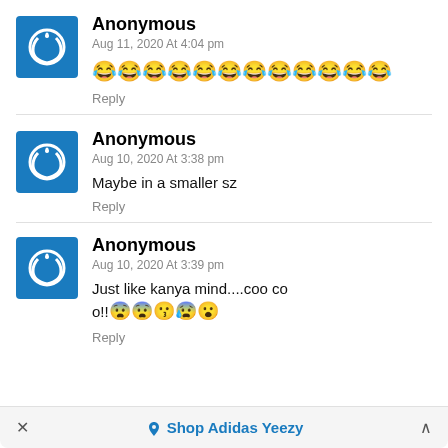Anonymous
Aug 11, 2020 At 4:04 pm
😂😂😂😂😂😂😂😂😂😂😂😂
Reply
Anonymous
Aug 10, 2020 At 3:38 pm
Maybe in a smaller sz
Reply
Anonymous
Aug 10, 2020 At 3:39 pm
Just like kanya mind....coo coo!!😨😨😗😰😮
Reply
× ♢ Shop Adidas Yeezy ^